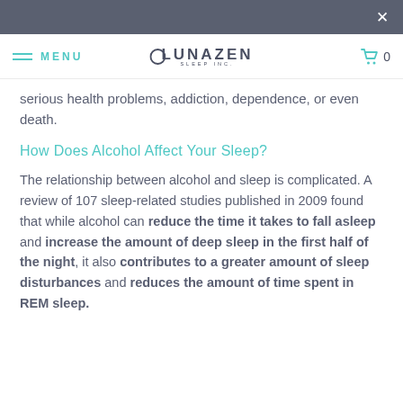LUNAZEN SLEEP INC. — Menu | Cart 0
serious health problems, addiction, dependence, or even death.
How Does Alcohol Affect Your Sleep?
The relationship between alcohol and sleep is complicated. A review of 107 sleep-related studies published in 2009 found that while alcohol can reduce the time it takes to fall asleep and increase the amount of deep sleep in the first half of the night, it also contributes to a greater amount of sleep disturbances and reduces the amount of time spent in REM sleep.